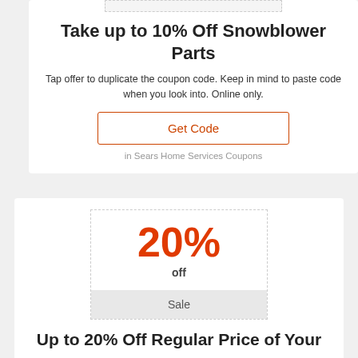[Figure (other): Dashed rectangle coupon graphic at top of first card]
Take up to 10% Off Snowblower Parts
Tap offer to duplicate the coupon code. Keep in mind to paste code when you look into. Online only.
Get Code
in Sears Home Services Coupons
[Figure (infographic): Coupon badge showing 20% off with Sale label at bottom]
Up to 20% Off Regular Price of Your